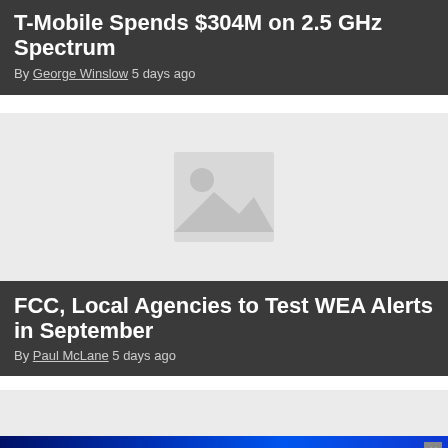T-Mobile Spends $304M on 2.5 GHz Spectrum
By George Winslow 5 days ago
[Figure (photo): Placeholder image thumbnail]
FCC, Local Agencies to Test WEA Alerts in September
By Paul McLane 5 days ago
[Figure (photo): Partially visible third article image placeholder]
[Figure (screenshot): JVC advertisement banner: Smarter Engineering Takes the Stage >>]